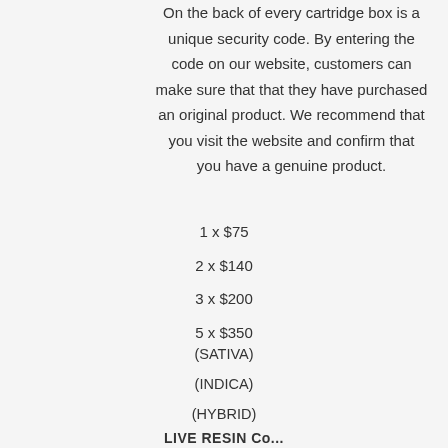On the back of every cartridge box is a unique security code. By entering the code on our website, customers can make sure that that they have purchased an original product. We recommend that you visit the website and confirm that you have a genuine product.
1 x $75
2 x $140
3 x $200
5 x $350
(SATIVA)
(INDICA)
(HYBRID)
LIVE RESIN Co...